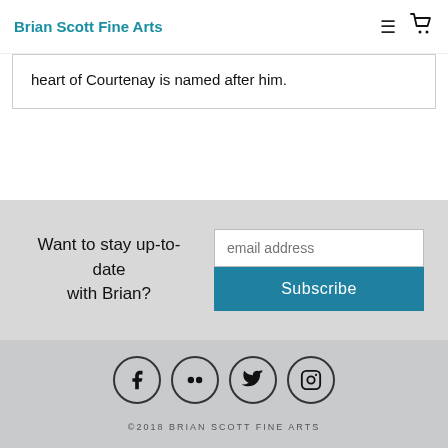Brian Scott Fine Arts
heart of Courtenay is named after him.
Want to stay up-to-date with Brian?
Subscribe
[Figure (other): Social media icons in circles: Facebook, Flickr, Twitter, Instagram]
©2018 BRIAN SCOTT FINE ARTS